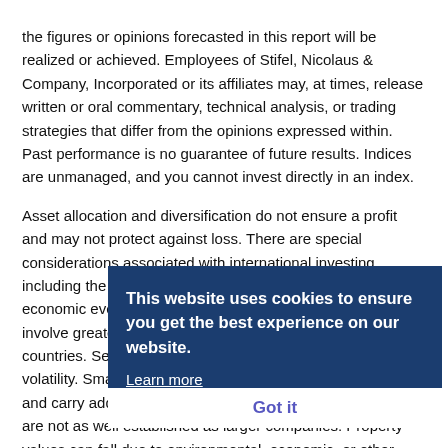the figures or opinions forecasted in this report will be realized or achieved. Employees of Stifel, Nicolaus & Company, Incorporated or its affiliates may, at times, release written or oral commentary, technical analysis, or trading strategies that differ from the opinions expressed within. Past performance is no guarantee of future results. Indices are unmanaged, and you cannot invest directly in an index.

Asset allocation and diversification do not ensure a profit and may not protect against loss. There are special considerations associated with international investing, including the risk of currency fluctuations and political and economic events. Investing in emerging markets may involve greater risk than investing in more developed countries. Sector-based investments can also exhibit greater volatility. Small company stocks are typically more volatile and carry additional risks, since smaller companies generally are not as well established as larger companies. Property values can fall due to environmental, economic, or other reasons, and changes in interest rates can
This website uses cookies to ensure you get the best experience on our website. Learn more Got it